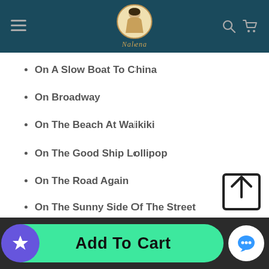Nalena — navigation header with menu, logo, search, cart
On A Slow Boat To China
On Broadway
On The Beach At Waikiki
On The Good Ship Lollipop
On The Road Again
On The Sunny Side Of The Street
On Top Of Old Smoky
Over The River And Through The Woods
Pearly Shells (Pupu O Ewa)
Add To Cart